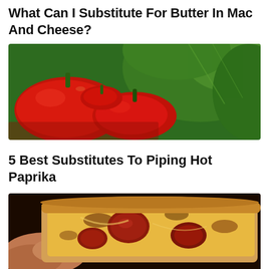What Can I Substitute For Butter In Mac And Cheese?
[Figure (photo): Close-up photo of red chili peppers and green lettuce leaves]
5 Best Substitutes To Piping Hot Paprika
[Figure (photo): Close-up photo of a person holding pizza slices with meat toppings, browned crust]